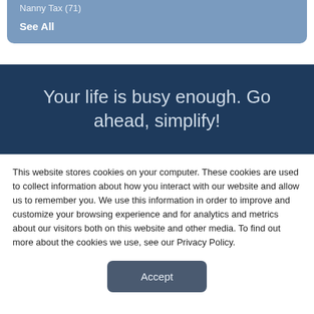Nanny Tax (71)
See All
Your life is busy enough. Go ahead, simplify!
This website stores cookies on your computer. These cookies are used to collect information about how you interact with our website and allow us to remember you. We use this information in order to improve and customize your browsing experience and for analytics and metrics about our visitors both on this website and other media. To find out more about the cookies we use, see our Privacy Policy.
Accept